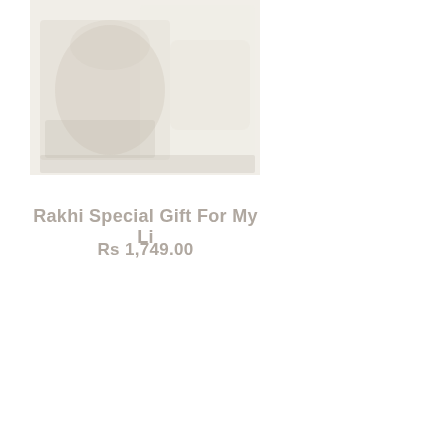[Figure (photo): Faded/washed-out product photo of a gift item, appearing very light/overexposed with barely visible objects]
Rakhi Special Gift For My Li
Rs 1,749.00